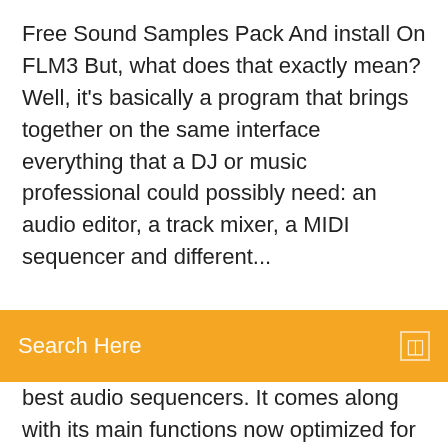Free Sound Samples Pack And install On FLM3 But, what does that exactly mean? Well, it's basically a program that brings together on the same interface everything that a DJ or music professional could possibly need: an audio editor, a track mixer, a MIDI sequencer and different...
Search Here
best audio sequencers. It comes along with its main functions now optimized for iOS. Everyone has some specific taste for music. Some people like to have slow and melodious songs, some like to listen fast and pop music and many people love classical and traditional music. Download FL Studio Mobile APK Free Latest Version Updates version cracked apk 2019. FL Studio mobile apk download patched with free plugins for iPhone & android Create and save complete multi-track music projects on your Android Phone or Tablet. Record, sequence, edit, mix and render complete songs. Feature Highlights • High